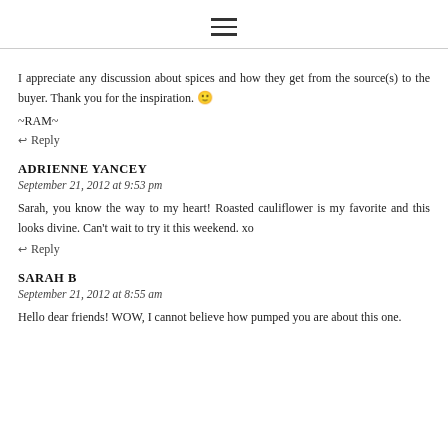≡
I appreciate any discussion about spices and how they get from the source(s) to the buyer. Thank you for the inspiration. 🙂
~RAM~
↩ Reply
ADRIENNE YANCEY
September 21, 2012 at 9:53 pm
Sarah, you know the way to my heart! Roasted cauliflower is my favorite and this looks divine. Can't wait to try it this weekend. xo
↩ Reply
SARAH B
September 21, 2012 at 8:55 am
Hello dear friends! WOW, I cannot believe how pumped you are about this one.